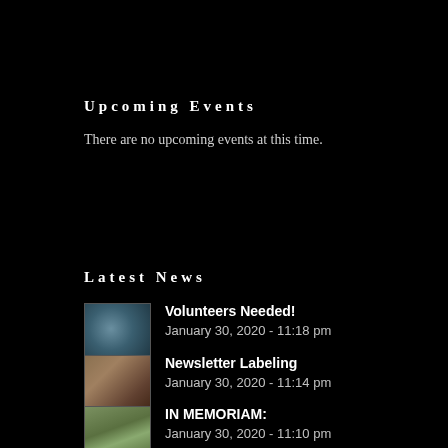Upcoming Events
There are no upcoming events at this time.
Latest News
[Figure (photo): Thumbnail photo for Volunteers Needed news item]
Volunteers Needed! January 30, 2020 - 11:18 pm
[Figure (photo): Thumbnail photo for Newsletter Labeling news item]
Newsletter Labeling January 30, 2020 - 11:14 pm
[Figure (photo): Thumbnail photo for IN MEMORIAM news item]
IN MEMORIAM: January 30, 2020 - 11:10 pm
[Figure (photo): Thumbnail photo for Seal Beach National Wildlife Refuge Update news item]
Seal Beach National Wildlife Refuge Update, Dec. 2019